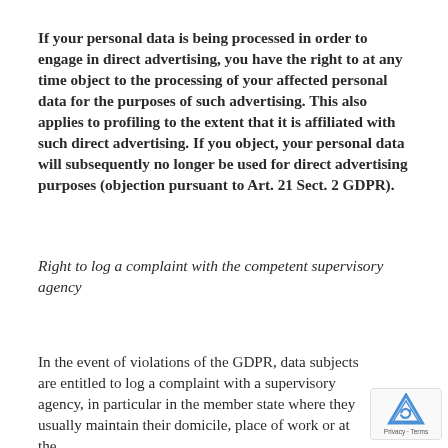If your personal data is being processed in order to engage in direct advertising, you have the right to at any time object to the processing of your affected personal data for the purposes of such advertising. This also applies to profiling to the extent that it is affiliated with such direct advertising. If you object, your personal data will subsequently no longer be used for direct advertising purposes (objection pursuant to Art. 21 Sect. 2 GDPR).
Right to log a complaint with the competent supervisory agency
In the event of violations of the GDPR, data subjects are entitled to log a complaint with a supervisory agency, in particular in the member state where they usually maintain their domicile, place of work or at the